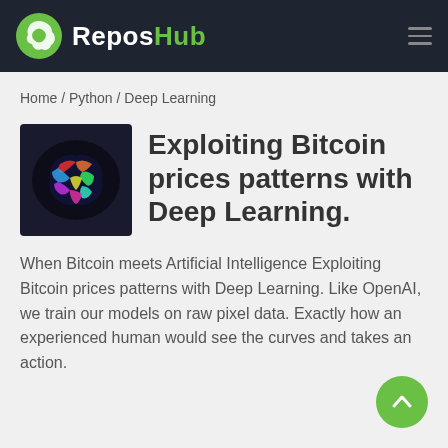ReposHub
Home / Python / Deep Learning
[Figure (photo): Brain scan image with colorful highlights]
Exploiting Bitcoin prices patterns with Deep Learning.
When Bitcoin meets Artificial Intelligence Exploiting Bitcoin prices patterns with Deep Learning. Like OpenAI, we train our models on raw pixel data. Exactly how an experienced human would see the curves and takes an action.